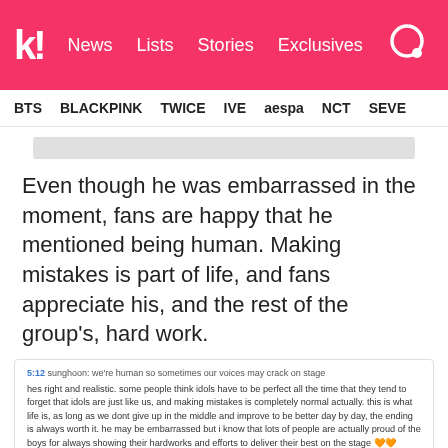k! News  Lists  Stories  Exclusives
BTS  BLACKPINK  TWICE  IVE  aespa  NCT  SEVE
Even though he was embarrassed in the moment, fans are happy that he mentioned being human. Making mistakes is part of life, and fans appreciate his, and the rest of the group's, hard work.
5:12 sunghoon: we're human so sometimes our voices may crack on stage
hes right and realistic. some people think idols have to be perfect all the time that they tend to forget that idols are just like us, and making mistakes is completely normal actually. this is what life is, as long as we dont give up in the middle and improve to be better day by day, the ending is always worth it. he may be embarrassed but i know that lots of people are actually proud of the boys for always showing their hardworks and efforts to deliver their best on the stage 🧡🧡
Show less
349  REPLY